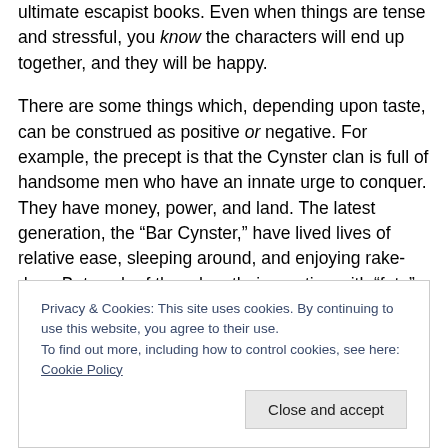ultimate escapist books. Even when things are tense and stressful, you know the characters will end up together, and they will be happy.
There are some things which, depending upon taste, can be construed as positive or negative. For example, the precept is that the Cynster clan is full of handsome men who have an innate urge to conquer. They have money, power, and land. The latest generation, the “Bar Cynster,” have lived lives of relative ease, sleeping around, and enjoying rake-dom. But each of them has their meeting with “fate” in the form of a woman—typically “strong...
Privacy & Cookies: This site uses cookies. By continuing to use this website, you agree to their use. To find out more, including how to control cookies, see here: Cookie Policy
Close and accept